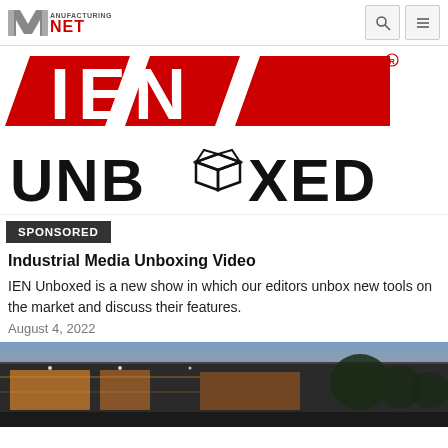Manufacturing.net
[Figure (logo): IEN Unboxed logo — large red IEN letters above with red chevron shapes, UNBOXED text below with an open box icon replacing the O]
SPONSORED
Industrial Media Unboxing Video
IEN Unboxed is a new show in which our editors unbox new tools on the market and discuss their features.
August 4, 2022
[Figure (photo): Exterior of a modern commercial building at dusk/evening with warm interior lighting visible through large windows and trees]